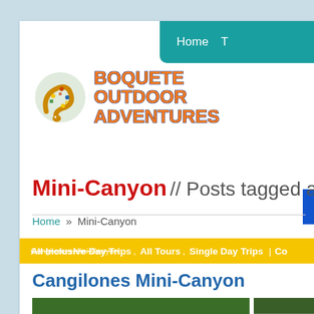[Figure (logo): Boquete Outdoor Adventures logo with decorative snake and orange/blue text]
Home  T
Mini-Canyon  // Posts tagged as "Mi
Home » Mini-Canyon
All Inclusive Day Trips, All Tours, Single Day Trips | Co
Cangilones Mini-Canyon
Cangilones Mini-Canyon
[Figure (photo): Two outdoor nature/canyon photos showing rocky river landscape with boulders and greenery]